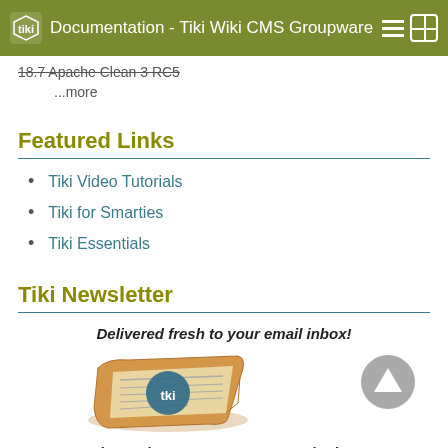Documentation - Tiki Wiki CMS Groupware
18.7 Apache Clean 3 RC5
...more
Featured Links
Tiki Video Tutorials
Tiki for Smarties
Tiki Essentials
Tiki Newsletter
Delivered fresh to your email inbox!
[Figure (illustration): Illustrated newspaper with tiki logo]
Don't miss major announcements and other news!